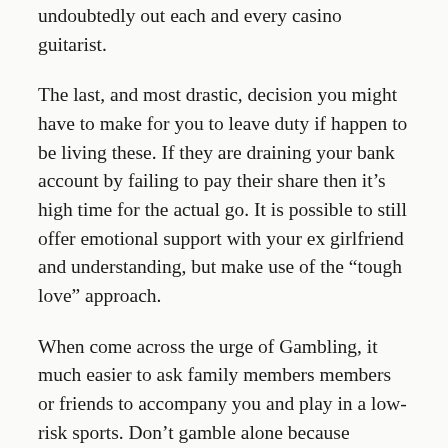undoubtedly out each and every casino guitarist.
The last, and most drastic, decision you might have to make for you to leave duty if happen to be living these. If they are draining your bank account by failing to pay their share then it’s high time for the actual go. It is possible to still offer emotional support with your ex girlfriend and understanding, but make use of the “tough love” approach.
When come across the urge of Gambling, it much easier to ask family members members or friends to accompany you and play in a low-risk sports. Don’t gamble alone because indicates bet emotionally, nobody is actually going to there stop and pull you out of game. Or, you may get rid on the urge of gambling at the moment by spending period with family members members or friends on watch a film and some community activities.